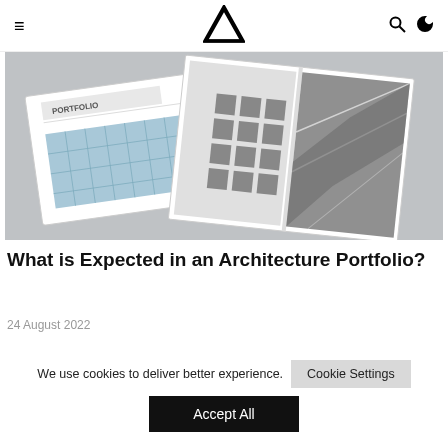≡  [A logo]  🔍 ☾
[Figure (photo): Architecture portfolio mockup showing a closed portfolio booklet with a glass building facade on the cover labeled PORTFOLIO, and an open portfolio spreads showing architectural grid and interior structural photos, on a light grey background.]
What is Expected in an Architecture Portfolio?
24 August 2022
We use cookies to deliver better experience.
Cookie Settings
Accept All